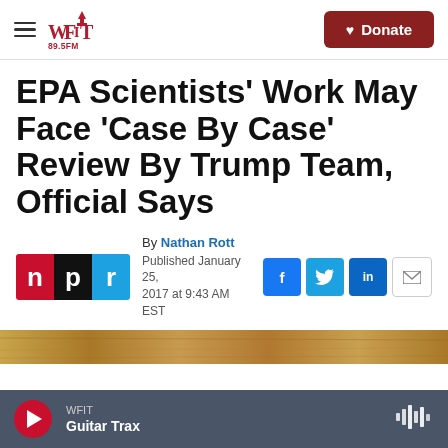WFIT 89.5FM — Donate
EPA Scientists' Work May Face 'Case By Case' Review By Trump Team, Official Says
By Nathan Rott
Published January 25, 2017 at 9:43 AM EST
[Figure (photo): Brown/golden wooden background image strip]
WFIT
Guitar Trax